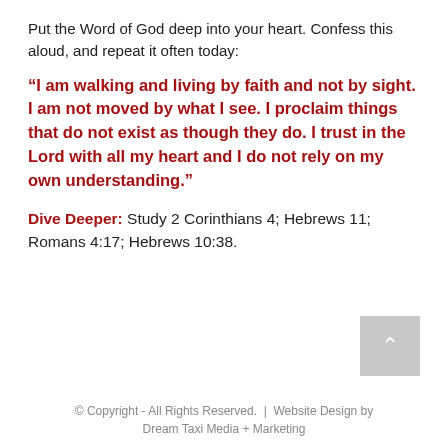Put the Word of God deep into your heart. Confess this aloud, and repeat it often today:
“I am walking and living by faith and not by sight. I am not moved by what I see. I proclaim things that do not exist as though they do. I trust in the Lord with all my heart and I do not rely on my own understanding.”
Dive Deeper: Study 2 Corinthians 4; Hebrews 11; Romans 4:17; Hebrews 10:38.
[Figure (other): Gray scroll-to-top button with white upward-pointing chevron arrow]
© Copyright - All Rights Reserved. | Website Design by Dream Taxi Media + Marketing